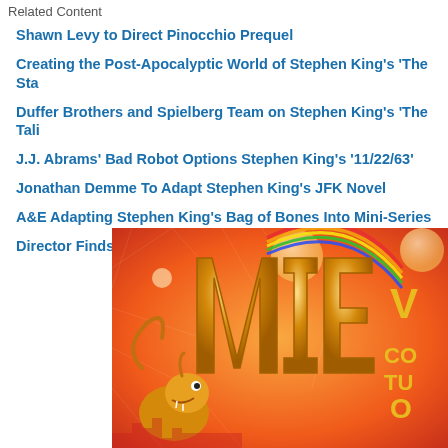Related Content
Shawn Levy to Direct Pinocchio Prequel
Creating the Post-Apocalyptic World of Stephen King's 'The Sta
Duffer Brothers and Spielberg Team on Stephen King's 'The Tali
J.J. Abrams' Bad Robot Options Stephen King's '11/22/63'
Jonathan Demme To Adapt Stephen King's JFK Novel
A&E Adapting Stephen King's Bag of Bones Into Mini-Series
Director Finds Haven in Stephen King Pilot
[Figure (illustration): Colorful orange/red illustrated book or game cover with golden stylized letters 'VIE' or similar logo, animated dragon character at bottom left, decorative bubbles and rainbow arc, text partially visible reading 'V', 'CO', 'TU', 'O' on the right side]